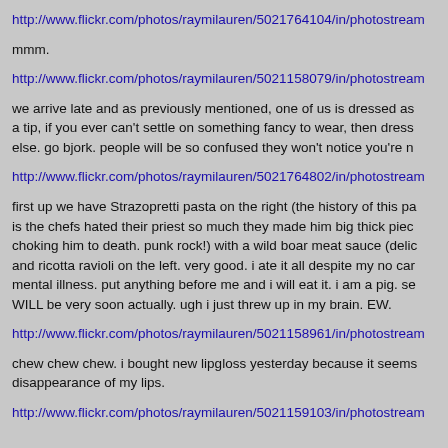http://www.flickr.com/photos/raymilauren/5021764104/in/photostream
mmm.
http://www.flickr.com/photos/raymilauren/5021158079/in/photostream
we arrive late and as previously mentioned, one of us is dressed as a tip, if you ever can't settle on something fancy to wear, then dress else. go bjork. people will be so confused they won't notice you're n
http://www.flickr.com/photos/raymilauren/5021764802/in/photostream
first up we have Strazopretti pasta on the right (the history of this pa is the chefs hated their priest so much they made him big thick piec choking him to death. punk rock!) with a wild boar meat sauce (delic and ricotta ravioli on the left. very good. i ate it all despite my no car mental illness. put anything before me and i will eat it. i am a pig. se WILL be very soon actually. ugh i just threw up in my brain. EW.
http://www.flickr.com/photos/raymilauren/5021158961/in/photostream
chew chew chew. i bought new lipgloss yesterday because it seems disappearance of my lips.
http://www.flickr.com/photos/raymilauren/5021159103/in/photostream